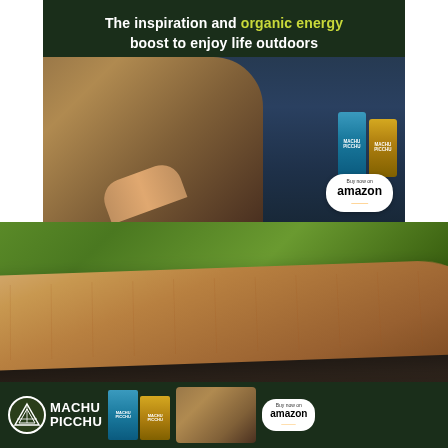[Figure (photo): Advertisement for Machu Picchu energy drink on dark green background. Text reads 'The inspiration and organic energy boost to enjoy life outdoors'. Shows a man drinking from a can, with product cans and an Amazon buy button visible.]
[Figure (photo): Close-up photo of a wooden surfboard or longboard with natural grain, placed on a dark stand, with green grass visible in the background. A Machu Picchu energy drink banner ad appears at the bottom showing the brand logo, product cans, a person drinking, and an Amazon buy button.]